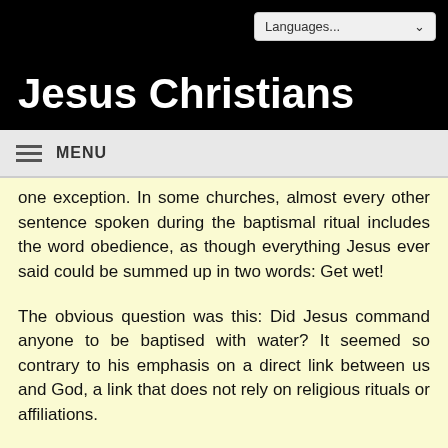Jesus Christians
one exception. In some churches, almost every other sentence spoken during the baptismal ritual includes the word obedience, as though everything Jesus ever said could be summed up in two words: Get wet!
The obvious question was this: Did Jesus command anyone to be baptised with water? It seemed so contrary to his emphasis on a direct link between us and God, a link that does not rely on religious rituals or affiliations.
We found that, though Jesus never told us to be baptised, he did order us to baptise others. But he never mentioned water. Instead, he specifically